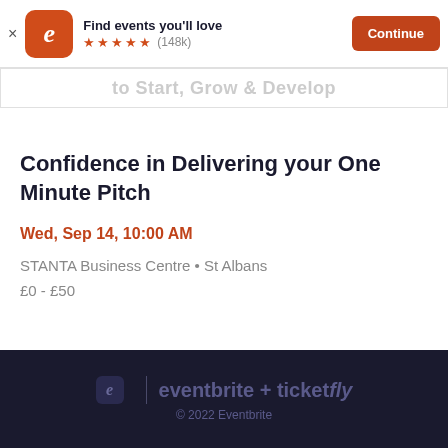[Figure (screenshot): Eventbrite app banner with orange logo, 'Find events you'll love', 5 orange stars, (148k) rating, and orange Continue button]
to Start, Grow & Develop
Confidence in Delivering your One Minute Pitch
Wed, Sep 14, 10:00 AM
STANTA Business Centre • St Albans
£0 - £50
eventbrite + ticketfly © 2022 Eventbrite